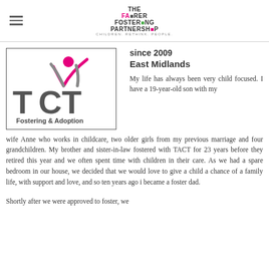Fairer Fostering Partnership — Children. Rethink. People.
[Figure (logo): TACT Fostering & Adoption logo — bold dark grey letters T, A, C, T with a pink and grey figure above, in a green-bordered box.]
since 2009
East Midlands
My life has always been very child focused. I have a 19-year-old son with my wife Anne who works in childcare, two older girls from my previous marriage and four grandchildren. My brother and sister-in-law fostered with TACT for 23 years before they retired this year and we often spent time with children in their care. As we had a spare bedroom in our house, we decided that we would love to give a child a chance of a family life, with support and love, and so ten years ago i became a foster dad.
Shortly after we were approved to foster, we